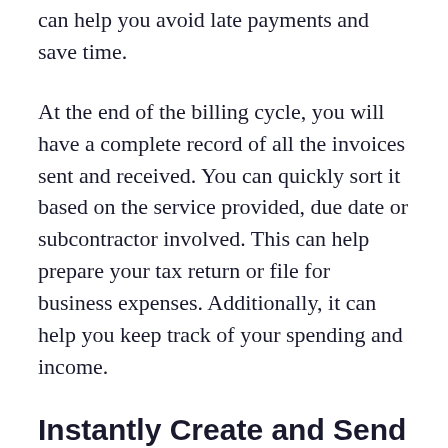can help you avoid late payments and save time.
At the end of the billing cycle, you will have a complete record of all the invoices sent and received. You can quickly sort it based on the service provided, due date or subcontractor involved. This can help prepare your tax return or file for business expenses. Additionally, it can help you keep track of your spending and income.
Instantly Create and Send Invoices
With mobile invoicing, you can generate and send electrical service invoices when the job is done. You can select an electrician invoice template, then